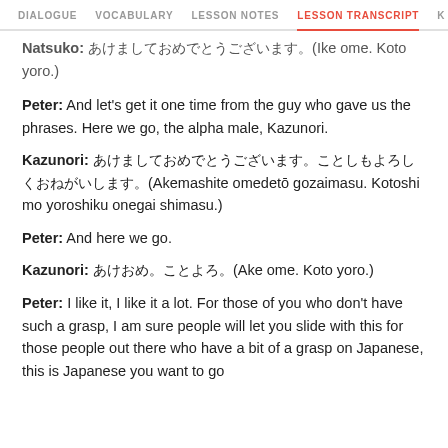DIALOGUE   VOCABULARY   LESSON NOTES   LESSON TRANSCRIPT   K
Natsuko: …(Ike ome. Koto yoro.)
Peter: And let's get it one time from the guy who gave us the phrases. Here we go, the alpha male, Kazunori.
Kazunori: [Japanese](Akemashite omedetō gozaimasu. Kotoshi mo yoroshiku onegai shimasu.)
Peter: And here we go.
Kazunori: [Japanese](Ake ome. Koto yoro.)
Peter: I like it, I like it a lot. For those of you who don't have such a grasp, I am sure people will let you slide with this for those people out there who have a bit of a grasp on Japanese, this is Japanese you want to go